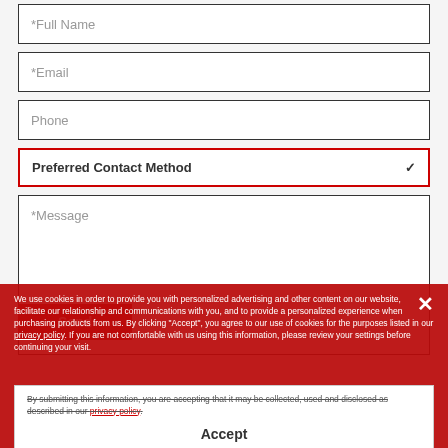*Full Name
*Email
Phone
Preferred Contact Method
*Message
Send
We use cookies in order to provide you with personalized advertising and other content on our website, facilitate our relationship and communications with you, and to provide a personalized experience when purchasing products from us. By clicking "Accept", you agree to our use of cookies for the purposes listed in our privacy policy. If you are not comfortable with us using this information, please review your settings before continuing your visit.
By submitting this information, you are accepting that it may be collected, used and disclosed as described in our privacy policy.
Accept